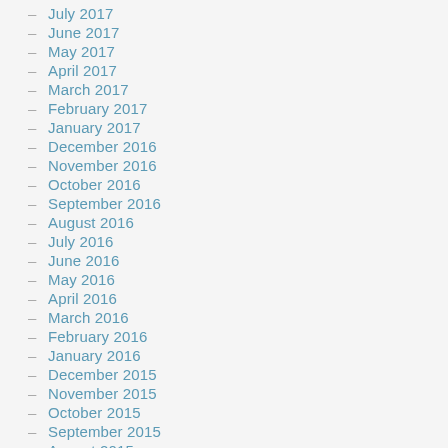July 2017
June 2017
May 2017
April 2017
March 2017
February 2017
January 2017
December 2016
November 2016
October 2016
September 2016
August 2016
July 2016
June 2016
May 2016
April 2016
March 2016
February 2016
January 2016
December 2015
November 2015
October 2015
September 2015
August 2015